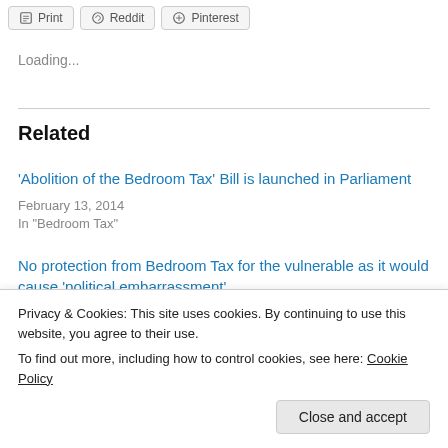[Figure (other): Share buttons: Print, Reddit, Pinterest]
Loading...
Related
'Abolition of the Bedroom Tax' Bill is launched in Parliament
February 13, 2014
In "Bedroom Tax"
No protection from Bedroom Tax for the vulnerable as it would cause 'political embarrassment'
Privacy & Cookies: This site uses cookies. By continuing to use this website, you agree to their use.
To find out more, including how to control cookies, see here: Cookie Policy
Close and accept